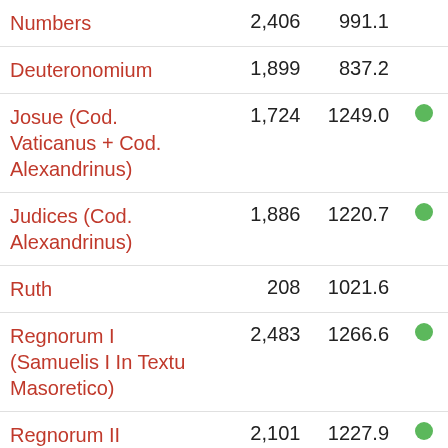| Book | Count1 | Count2 | Indicator |
| --- | --- | --- | --- |
| Numbers | 2,406 | 991.1 |  |
| Deuteronomium | 1,899 | 837.2 |  |
| Josue (Cod. Vaticanus + Cod. Alexandrinus) | 1,724 | 1249.0 | ● |
| Judices (Cod. Alexandrinus) | 1,886 | 1220.7 | ● |
| Ruth | 208 | 1021.6 |  |
| Regnorum I (Samuelis I In Textu Masoretico) | 2,483 | 1266.6 | ● |
| Regnorum II (Samuelis II In Textu Masoretico) | 2,101 | 1227.9 | ● |
| Regnorum III (Regum I In Textu ... | 2,351 | 1188.6 | ● |